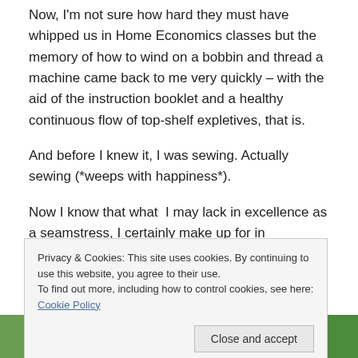Now, I'm not sure how hard they must have whipped us in Home Economics classes but the memory of how to wind on a bobbin and thread a machine came back to me very quickly – with the aid of the instruction booklet and a healthy continuous flow of top-shelf expletives, that is.
And before I knew it, I was sewing. Actually sewing (*weeps with happiness*).
Now I know that what  I may lack in excellence as a seamstress, I certainly make up for in enthusiasm. In five
Privacy & Cookies: This site uses cookies. By continuing to use this website, you agree to their use.
To find out more, including how to control cookies, see here: Cookie Policy
[Figure (photo): Partial photo strip at bottom of page showing green outdoor scene]